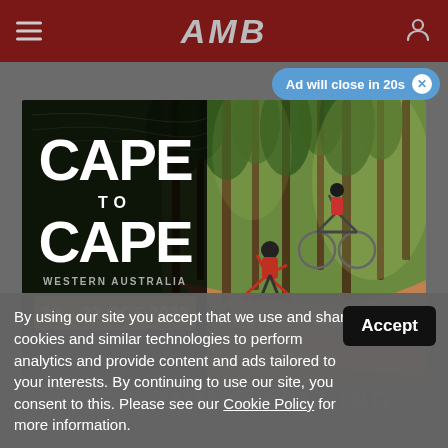AMB
Ad will close in 20s ✕
[Figure (photo): Cape to Cape Western Australia mountain bike event advertisement. Left panel: dark background with 'CAPE to CAPE WESTERN AUSTRALIA 20 – 23 OCT 2022' in bold white/gold text. Right panel: Two mountain bikers racing on a red dirt trail through a forest.]
GOOD TIMES ROLLING
By using our site you accept that we use and share cookies and similar technologies to perform analytics and provide content and ads tailored to your interests. By continuing to use our site, you consent to this. Please see our Cookie Policy for more information.